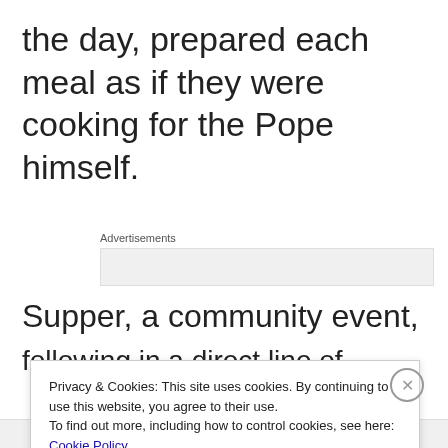the day, prepared each meal as if they were cooking for the Pope himself.
Advertisements
Supper, a community event,
Privacy & Cookies: This site uses cookies. By continuing to use this website, you agree to their use.
To find out more, including how to control cookies, see here: Cookie Policy
Close and accept